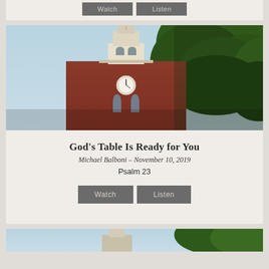[Figure (other): Top of previous card showing two gray buttons (Watch and Listen)]
[Figure (photo): Photograph of a brick church with white steeple and trees against a blue sky]
God's Table Is Ready for You
Michael Balboni – November 10, 2019
Psalm 23
[Figure (other): Watch and Listen buttons]
[Figure (photo): Bottom of next card showing another church photo partially visible]